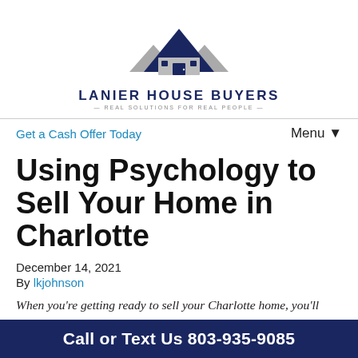[Figure (logo): Lanier House Buyers logo with house/roof graphic in navy and gray, company name and tagline 'Real Solutions for Real People']
Get a Cash Offer Today
Menu ▼
Using Psychology to Sell Your Home in Charlotte
December 14, 2021
By lkjohnson
When you're getting ready to sell your Charlotte home, you'll want to make sure you have everything working in your favor. Depending on your neighborhood, there
Call or Text Us 803-935-9085